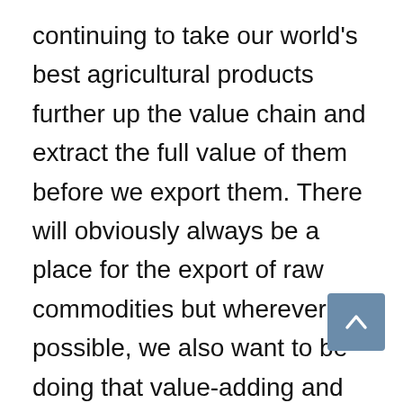continuing to take our world's best agricultural products further up the value chain and extract the full value of them before we export them. There will obviously always be a place for the export of raw commodities but wherever possible, we also want to be doing that value-adding and generating more jobs and more money for Australia in the process.
And of course, no conversation about the future of agriculture can be complete without sustainability and climate change. And I've been pleasantly surprised - I mean, I sort of knew it in an abstract sense but I've been pleasantly